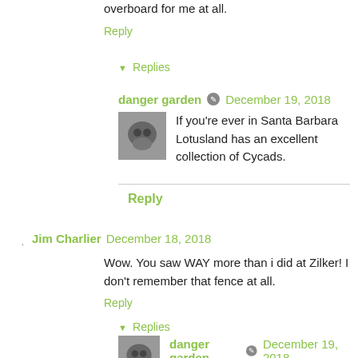overboard for me at all.
Reply
▼ Replies
danger garden  December 19, 2018
If you're ever in Santa Barbara Lotusland has an excellent collection of Cycads.
Reply
Jim Charlier  December 18, 2018
Wow. You saw WAY more than i did at Zilker! I don't remember that fence at all.
Reply
▼ Replies
danger garden  December 19, 2018